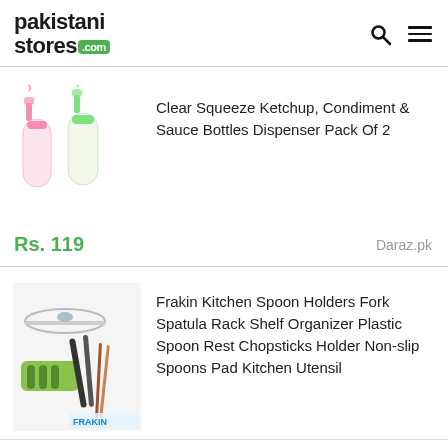pakistanistores.com
[Figure (photo): Two clear squeeze bottles with pink and green caps]
Clear Squeeze Ketchup, Condiment & Sauce Bottles Dispenser Pack Of 2
Rs. 119
Daraz.pk
[Figure (photo): Frakin Kitchen Spoon Holder with green plastic rest and cooking utensils]
Frakin Kitchen Spoon Holders Fork Spatula Rack Shelf Organizer Plastic Spoon Rest Chopsticks Holder Non-slip Spoons Pad Kitchen Utensil
Rs. 1